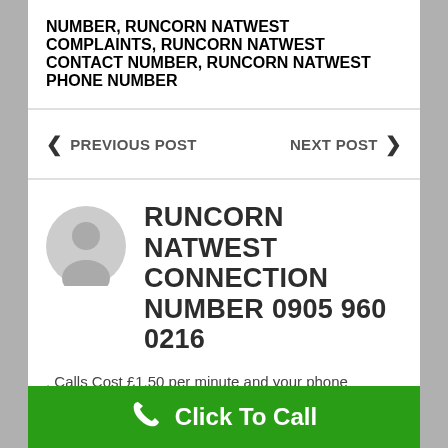NUMBER, RUNCORN NATWEST COMPLAINTS, RUNCORN NATWEST CONTACT NUMBER, RUNCORN NATWEST PHONE NUMBER
< PREVIOUS POST   NEXT POST >
RUNCORN NATWEST CONNECTION NUMBER 0905 960 0216
. Calls Cost £1.50 per minute and your phone
Click To Call